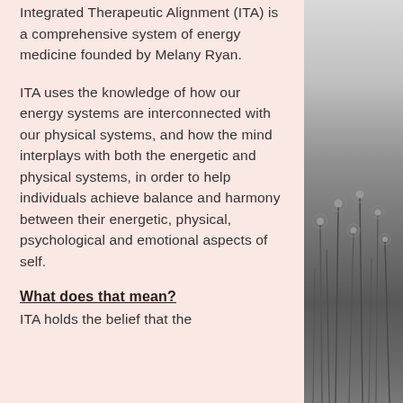Integrated Therapeutic Alignment (ITA) is a comprehensive system of energy medicine founded by Melany Ryan.
ITA uses the knowledge of how our energy systems are interconnected with our physical systems, and how the mind interplays with both the energetic and physical systems, in order to help individuals achieve balance and harmony between their energetic, physical, psychological and emotional aspects of self.
What does that mean?
ITA holds the belief that the
[Figure (photo): Black and white photograph of tall grass or wildflowers/dandelions with a blurred sky background, positioned on the right side of the page.]